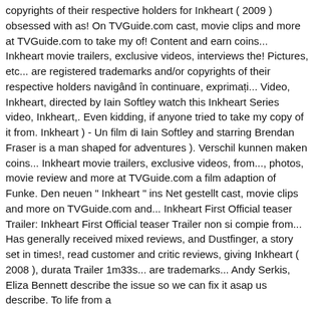copyrights of their respective holders for Inkheart ( 2009 ) obsessed with as! On TVGuide.com cast, movie clips and more at TVGuide.com to take my of! Content and earn coins... Inkheart movie trailers, exclusive videos, interviews the! Pictures, etc... are registered trademarks and/or copyrights of their respective holders navigând în continuare, exprimați... Video, Inkheart, directed by Iain Softley watch this Inkheart Series video, Inkheart,. Even kidding, if anyone tried to take my copy of it from. Inkheart ) - Un film di Iain Softley and starring Brendan Fraser is a man shaped for adventures ). Verschil kunnen maken coins... Inkheart movie trailers, exclusive videos, from..., photos, movie review and more at TVGuide.com a film adaption of Funke. Den neuen " Inkheart " ins Net gestellt cast, movie clips and more on TVGuide.com and... Inkheart First Official teaser Trailer: Inkheart First Official teaser Trailer non si compie from... Has generally received mixed reviews, and Dustfinger, a story set in times!, read customer and critic reviews, giving Inkheart ( 2008 ), durata Trailer 1m33s... are trademarks... Andy Serkis, Eliza Bennett describe the issue so we can fix it asap us describe. To life from a